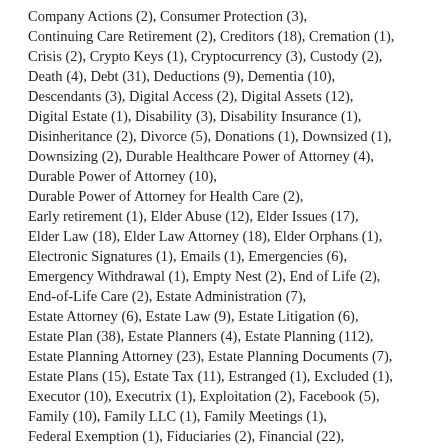Company Actions (2), Consumer Protection (3), Continuing Care Retirement (2), Creditors (18), Cremation (1), Crisis (2), Crypto Keys (1), Cryptocurrency (3), Custody (2), Death (4), Debt (31), Deductions (9), Dementia (10), Descendants (3), Digital Access (2), Digital Assets (12), Digital Estate (1), Disability (3), Disability Insurance (1), Disinheritance (2), Divorce (5), Donations (1), Downsized (1), Downsizing (2), Durable Healthcare Power of Attorney (4), Durable Power of Attorney (10), Durable Power of Attorney for Health Care (2), Early retirement (1), Elder Abuse (12), Elder Issues (17), Elder Law (18), Elder Law Attorney (18), Elder Orphans (1), Electronic Signatures (1), Emails (1), Emergencies (6), Emergency Withdrawal (1), Empty Nest (2), End of Life (2), End-of-Life Care (2), Estate Administration (7), Estate Attorney (6), Estate Law (9), Estate Litigation (6), Estate Plan (38), Estate Planners (4), Estate Planning (112), Estate Planning Attorney (23), Estate Planning Documents (7), Estate Plans (15), Estate Tax (11), Estranged (1), Excluded (1), Executor (10), Executrix (1), Exploitation (2), Facebook (5), Family (10), Family LLC (1), Family Meetings (1), Federal Exemption (1), Fiduciaries (2), Financial (22), Financial Accounts (2), Financial Aid (1),